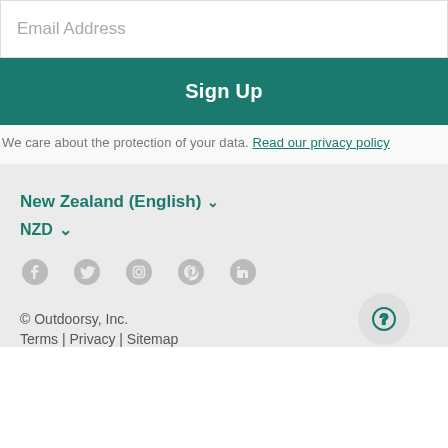Email Address
Sign Up
We care about the protection of your data. Read our privacy policy
New Zealand (English) ▾
NZD ▾
[Figure (illustration): Social media icons: Facebook, Twitter, Instagram, Pinterest, LinkedIn]
© Outdoorsy, Inc.
Terms | Privacy | Sitemap